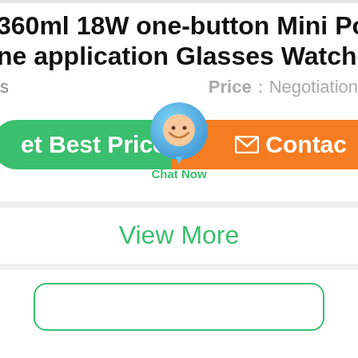360ml 18W one-button Mini Por- table application Glasses Watches
Price：Negotiation
[Figure (screenshot): UI buttons: green 'Get Best Price' button on left, orange 'Contact' button on right, overlapping chat bubble widget in center with 'Chat Now' label]
View More
[Figure (screenshot): Rounded green-bordered box at bottom of page]